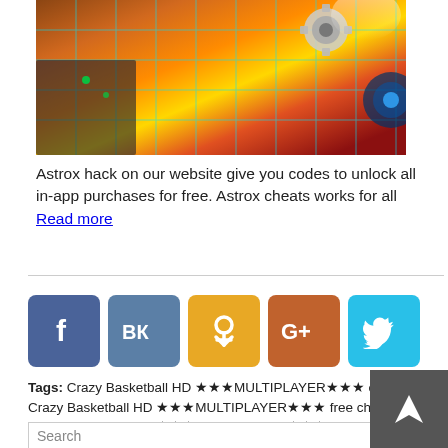[Figure (screenshot): Game screenshot showing a space/sci-fi strategy game with glowing cyan grid lines over a orange/brown planet surface with a gear/spacecraft element]
Astrox hack on our website give you codes to unlock all in-app purchases for free. Astrox cheats works for all Read more
[Figure (infographic): Social media share buttons: Facebook (blue), VK (steel blue), Odnoklassniki (yellow/orange), Google+ (orange-brown), Twitter (cyan)]
Tags: Crazy Basketball HD ★★★MULTIPLAYER★★★ cheats, Crazy Basketball HD ★★★MULTIPLAYER★★★ free cheats, Crazy Basketball HD ★★★MULTIPLAYER★★★ hack android, Crazy Basketball HD ★★★MULTIPLAYER★★★ hack ios, Crazy Basketball HD ★★★MULTIPLAYER★★★ hack tool, Crazy Basketball HD ★★★MULTIPLAYER★★★ mod apk, hack Crazy Basketball HD ★★★MULTIPLAYER★★★